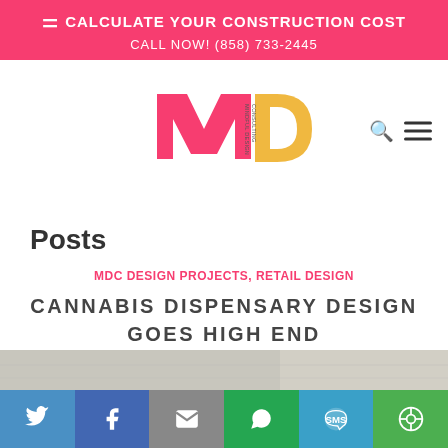CALCULATE YOUR CONSTRUCTION COST
CALL NOW! (858) 733-2445
[Figure (logo): Mindful Design Consulting logo with pink M and gold D letters]
Posts
MDC DESIGN PROJECTS, RETAIL DESIGN
CANNABIS DISPENSARY DESIGN GOES HIGH END
[Figure (photo): Partial image of cannabis dispensary interior visible at bottom]
[Figure (infographic): Social sharing bar with Twitter, Facebook, Email, WhatsApp, SMS, More buttons]